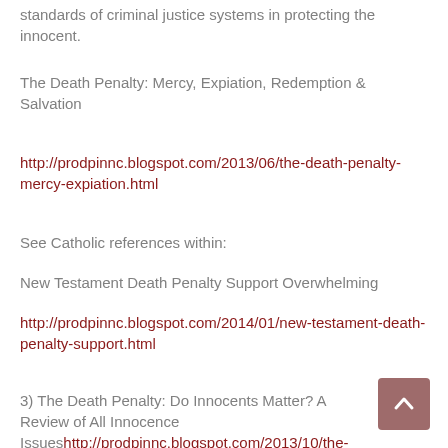standards of criminal justice systems in protecting the innocent.
The Death Penalty: Mercy, Expiation, Redemption & Salvation
http://prodpinnc.blogspot.com/2013/06/the-death-penalty-mercy-expiation.html
See Catholic references within:
New Testament Death Penalty Support Overwhelming
http://prodpinnc.blogspot.com/2014/01/new-testament-death-penalty-support.html
3) The Death Penalty: Do Innocents Matter? A Review of All Innocence Issueshttp://prodpinnc.blogspot.com/2013/10/the-death-penalty-do-innocents-matter.html